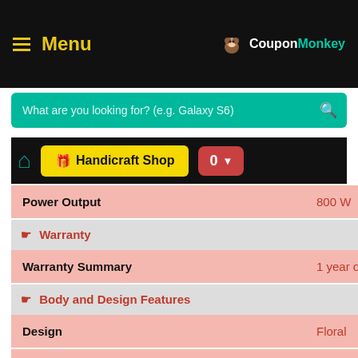Menu | CouponMonkey
What are you looking for? (e.g. Galaxy S6)
🏠 Handicraft Shop  0 ▾
| Attribute | Value |
| --- | --- |
| Power Output | 800 W |
| Warranty (section) |  |
| Warranty Summary | 1 year on Product and 3 years on M |
| Body and Design Features (section) |  |
| Design | Floral |
| Door Opening Mechanism | Push |